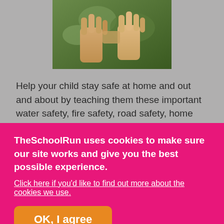[Figure (photo): Close-up photo of two children's hands holding each other outdoors with green grass background]
Help your child stay safe at home and out and about by teaching them these important water safety, fire safety, road safety, home safety, animal safety and stranger danger basics.
Login or Register to add to your saved resources
TheSchoolRun uses cookies to make sure our site works and give you the best possible experience. Click here if you'd like to find out more about the cookies we use.
OK, I agree